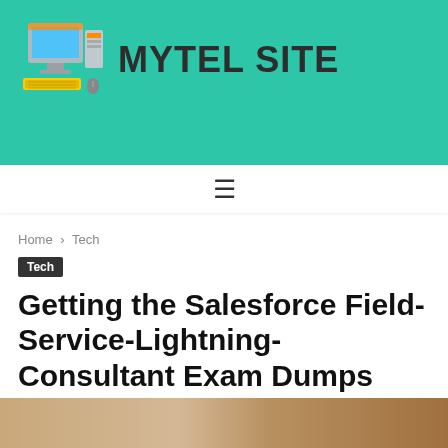MYTEL SITE
[Figure (logo): MyTel Site logo with a computer/desktop illustration and the text MYTEL SITE]
≡
Home › Tech
Tech
Getting the Salesforce Field-Service-Lightning-Consultant Exam Dumps from CertificationsTime
Zain Liaquat - June 16, 2022   💬 0
[Figure (photo): Partial thumbnail photo at bottom of page]